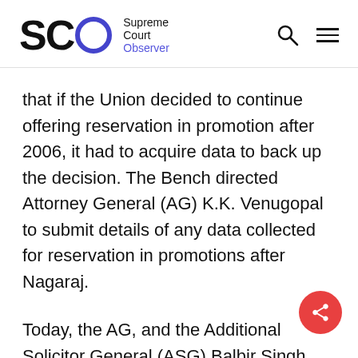SCO Supreme Court Observer
that if the Union decided to continue offering reservation in promotion after 2006, it had to acquire data to back up the decision. The Bench directed Attorney General (AG) K.K. Venugopal to submit details of any data collected for reservation in promotions after Nagaraj.
Today, the AG, and the Additional Solicitor General (ASG) Balbir Singh concluded their submissions for the Union. The Senior...